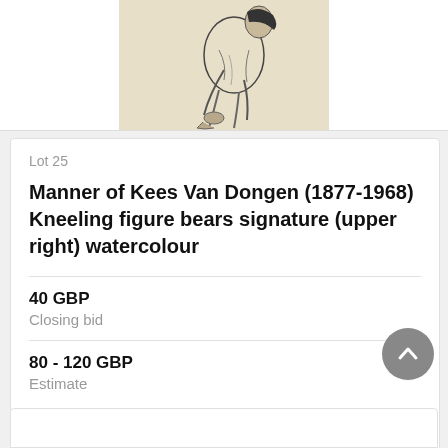[Figure (photo): Partial view of a kneeling figure watercolour artwork, cropped at top of page]
Lot 25
Manner of Kees Van Dongen (1877-1968) Kneeling figure bears signature (upper right) watercolour
40 GBP
Closing bid
80 - 120 GBP
Estimate
VIEW
Lot closed
Lot location: Oxford